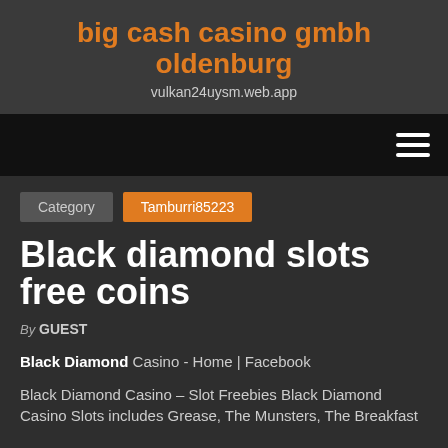big cash casino gmbh oldenburg
vulkan24uysm.web.app
[Figure (other): Navigation bar with hamburger menu icon (three horizontal white lines) on black background]
Category   Tamburri85223
Black diamond slots free coins
By GUEST
Black Diamond Casino - Home | Facebook
Black Diamond Casino – Slot Freebies Black Diamond Casino Slots includes Grease, The Munsters, The Breakfast